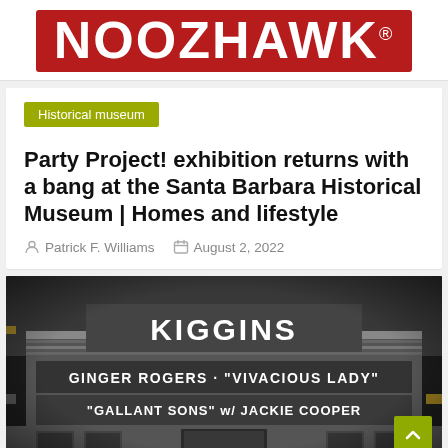NOOZHAWK®
Historical museum
Party Project! exhibition returns with a bang at the Santa Barbara Historical Museum | Homes and lifestyle
Patrick F. Williams   August 2, 2022
[Figure (photo): Black and white photograph of the Kiggins theater marquee showing 'GINGER ROGERS - VIVACIOUS LADY' and 'GALLANT SONS' with JACKIE COOPER']